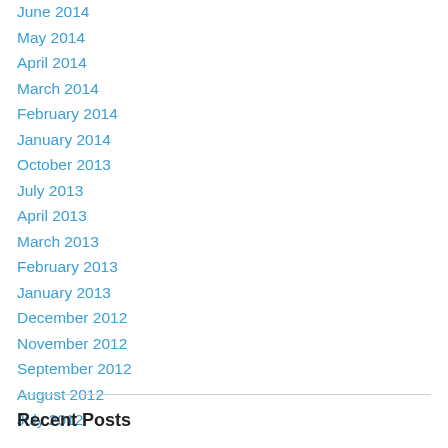June 2014
May 2014
April 2014
March 2014
February 2014
January 2014
October 2013
July 2013
April 2013
March 2013
February 2013
January 2013
December 2012
November 2012
September 2012
August 2012
July 2012
Recent Posts